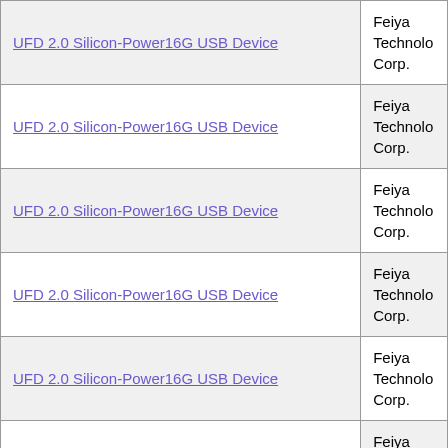| Device Name | Manufacturer |
| --- | --- |
| UFD 2.0 Silicon-Power16G USB Device | Feiya Technology Corp. |
| UFD 2.0 Silicon-Power16G USB Device | Feiya Technology Corp. |
| UFD 2.0 Silicon-Power16G USB Device | Feiya Technology Corp. |
| UFD 2.0 Silicon-Power16G USB Device | Feiya Technology Corp. |
| UFD 2.0 Silicon-Power16G USB Device | Feiya Technology Corp. |
| UFD 2.0 Silicon-Power16G USB Device | Feiya Technology Corp. |
| UFD 2.0 Silicon-Power16G USB Device | Feiya Technology Corp. |
| UFD 2.0 Silicon-Power16G USB Device | Feiya Technology Corp. |
| UFD 2.0 Silicon-Power16G USB Device | Feiya Technology Corp. |
| UFD 2.0 Silicon-Power16G USB Device | Feiya Technology Corp. |
| UFD 2.0 Silicon-Power16G USB Device | Feiya Technology Corp. |